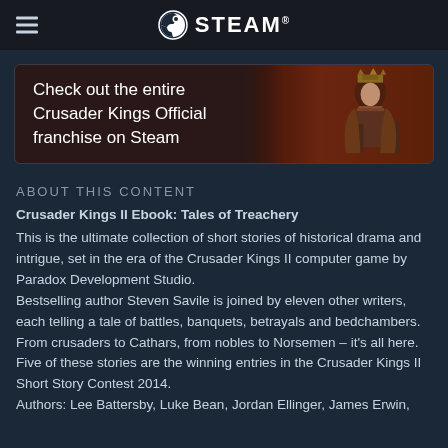STEAM
[Figure (illustration): Franchise banner with text 'Check out the entire Crusader Kings Official franchise on Steam' overlaid on a dark medieval illustration of a king figure]
ABOUT THIS CONTENT
Crusader Kings II Ebook: Tales of Treachery
This is the ultimate collection of short stories of historical drama and intrigue, set in the era of the Crusader Kings II computer game by Paradox Development Studio.
Bestselling author Steven Savile is joined by eleven other writers, each telling a tale of battles, banquets, betrayals and bedchambers. From crusaders to Cathars, from nobles to Norsemen – it's all here. Five of these stories are the winning entries in the Crusader Kings II Short Story Contest 2014.
Authors: Lee Battersby, Luke Bean, Jordan Ellinger, James Erwin,